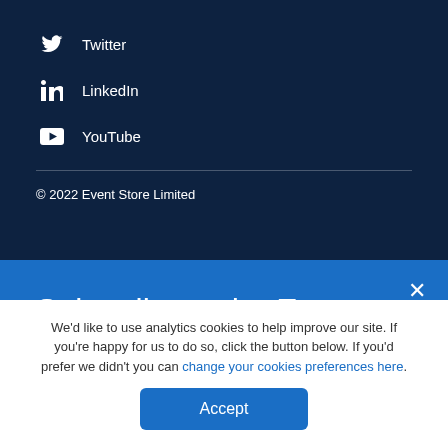Twitter
LinkedIn
YouTube
© 2022 Event Store Limited
Subscribe to the Event Store newsletter
We'd like to use analytics cookies to help improve our site. If you're happy for us to do so, click the button below. If you'd prefer we didn't you can change your cookies preferences here.